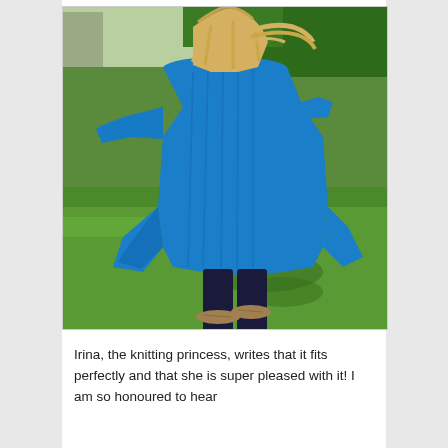[Figure (photo): A woman with long blonde hair viewed from behind, wearing a vibrant blue textured knit cardigan with an asymmetric hem, dark jeans, and flat shoes, standing on green grass in an outdoor setting with trees in the background.]
Irina, the knitting princess, writes that it fits perfectly and that she is super pleased with it! I am so honoured to hear